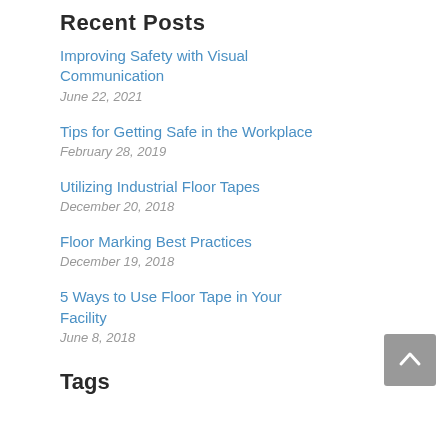Recent Posts
Improving Safety with Visual Communication
June 22, 2021
Tips for Getting Safe in the Workplace
February 28, 2019
Utilizing Industrial Floor Tapes
December 20, 2018
Floor Marking Best Practices
December 19, 2018
5 Ways to Use Floor Tape in Your Facility
June 8, 2018
Tags